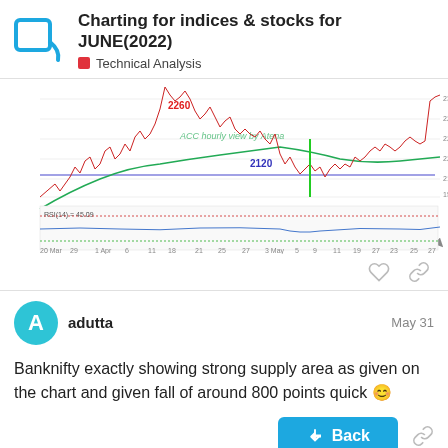Charting for indices & stocks for JUNE(2022) — Technical Analysis
[Figure (continuous-plot): ACC hourly candlestick chart showing price action with RSI indicator. Blue horizontal support line around 2120, red resistance area around 2260. Price shows a sharp drop from ~2260 level. RSI(14) = 45.09. X-axis spans March through June dates.]
Banknifty exactly showing strong supply area as given on the chart and given fall of around 800 points quick 😊
adutta   May 31
Celina
5 / 36